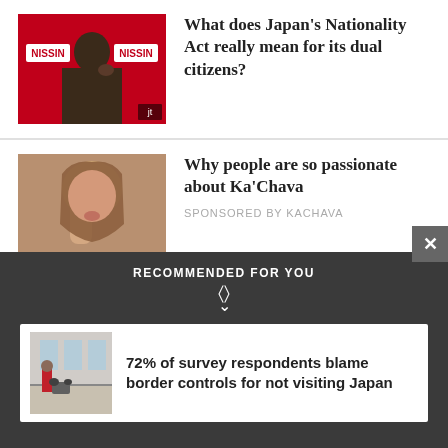[Figure (photo): Woman at Nissin event, close-up portrait with red Nissin branding background and 'jt' watermark]
What does Japan's Nationality Act really mean for its dual citizens?
[Figure (photo): Woman drinking from a Ka'Chava bottle]
Why people are so passionate about Ka'Chava
SPONSORED BY KACHAVA
RECOMMENDED FOR YOU
[Figure (photo): People at what appears to be an airport or border control area]
72% of survey respondents blame border controls for not visiting Japan